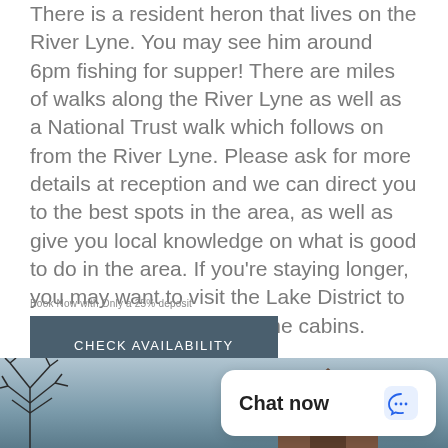There is a resident heron that lives on the River Lyne. You may see him around 6pm fishing for supper! There are miles of walks along the River Lyne as well as a National Trust walk which follows on from the River Lyne. Please ask for more details at reception and we can direct you to the best spots in the area, as well as give you local knowledge on what is good to do in the area. If you're staying longer, you may want to visit the Lake District to see the delights south of the cabins.
Book Now with Only a 25% deposit
CHECK AVAILABILITY
[Figure (photo): Bottom strip showing a wintry outdoor scene with bare tree branches on the left and a cabin roof visible on the right, against a grey-blue sky. A white chat widget overlays the bottom right.]